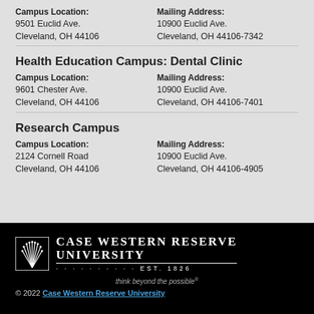Campus Location: 9501 Euclid Ave. Cleveland, OH 44106 | Mailing Address: 10900 Euclid Ave. Cleveland, OH 44106-7342
Health Education Campus: Dental Clinic
Campus Location: 9601 Chester Ave. Cleveland, OH 44106 | Mailing Address: 10900 Euclid Ave. Cleveland, OH 44106-7401
Research Campus
Campus Location: 2124 Cornell Road Cleveland, OH 44106 | Mailing Address: 10900 Euclid Ave. Cleveland, OH 44106-4905
[Figure (logo): Case Western Reserve University logo with sunburst icon, university name, EST. 1826, and tagline 'think beyond the possible']
© 2022 Case Western Reserve University